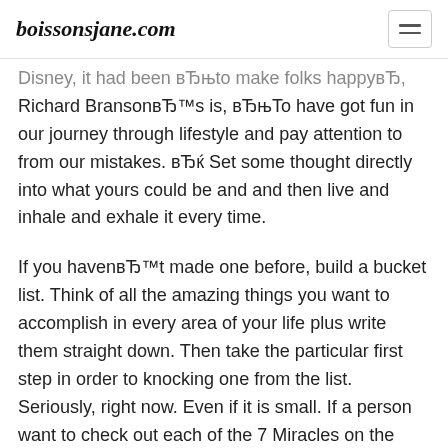boissonsjane.com
Disney, it had been вЂњto make folks happyвЂ, Richard BransonвЂ™s is, вЂњTo have got fun in our journey through lifestyle and pay attention to from our mistakes. вЂќ Set some thought directly into what yours could be and and then live and inhale and exhale it every time.
If you havenвЂ™t made one before, build a bucket list. Think of all the amazing things you want to accomplish in every area of your life plus write them straight down. Then take the particular first step in order to knocking one from the list. Seriously, right now. Even if it is small. If a person want to check out each of the 7 Miracles on the planet, start studying flights. Bad a few action taking location this along with you will start moving